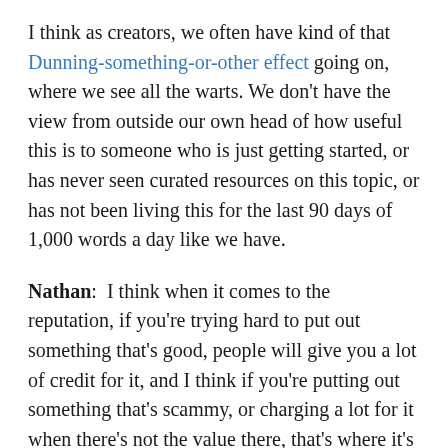I think as creators, we often have kind of that Dunning-something-or-other effect going on, where we see all the warts. We don’t have the view from outside our own head of how useful this is to someone who is just getting started, or has never seen curated resources on this topic, or has not been living this for the last 90 days of 1,000 words a day like we have.
Nathan:  I think when it comes to the reputation, if you’re trying hard to put out something that’s good, people will give you a lot of credit for it, and I think if you’re putting out something that’s scammy, or charging a lot for it when there’s not the value there, that’s where it’s going to hurt your reputation, but if you’re earnestly trying, and shipping things often, and trying to deliver a lot of value and help people, then putting out an early version of your product is not going to hurt your reputation.